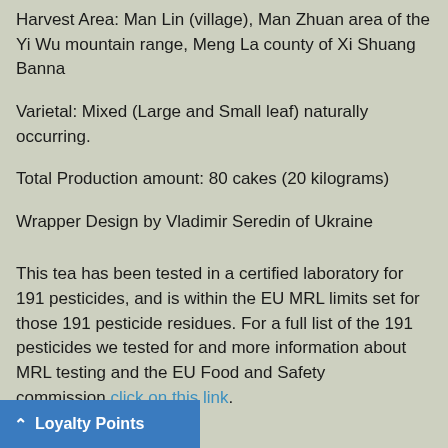Harvest Area: Man Lin (village), Man Zhuan area of the Yi Wu mountain range, Meng La county of Xi Shuang Banna
Varietal: Mixed (Large and Small leaf) naturally occurring.
Total Production amount: 80 cakes (20 kilograms)
Wrapper Design by Vladimir Seredin of Ukraine
This tea has been tested in a certified laboratory for 191 pesticides, and is within the EU MRL limits set for those 191 pesticide residues. For a full list of the 191 pesticides we tested for and more information about MRL testing and the EU Food and Safety commission click on this link.
Loyalty Points